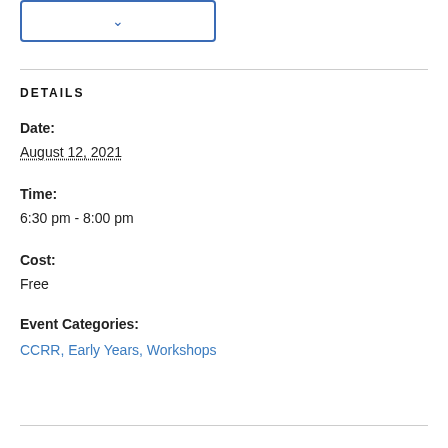[Figure (screenshot): Dropdown button with blue border and chevron arrow]
DETAILS
Date:
August 12, 2021
Time:
6:30 pm - 8:00 pm
Cost:
Free
Event Categories:
CCRR, Early Years, Workshops